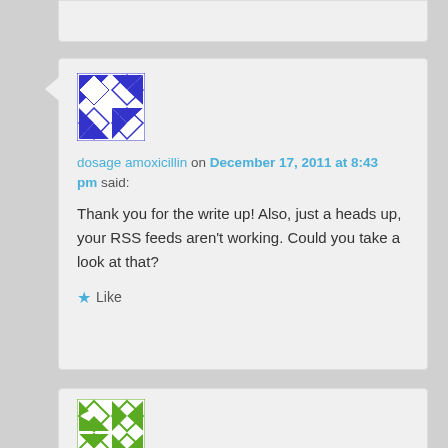[Figure (illustration): Blue geometric/kaleidoscope avatar icon in a 68x68 square]
dosage amoxicillin on December 17, 2011 at 8:43 pm said:
Thank you for the write up! Also, just a heads up, your RSS feeds aren't working. Could you take a look at that?
★ Like
[Figure (illustration): Green geometric/kaleidoscope avatar icon in a 68x68 square]